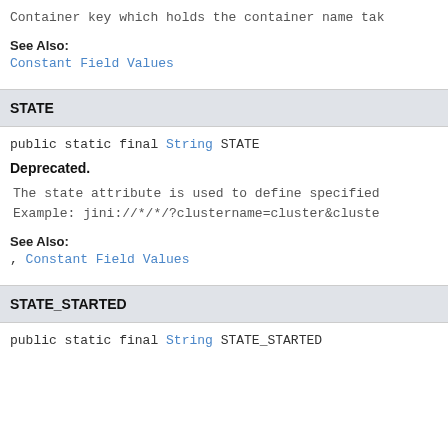Container key which holds the container name tak
See Also:
Constant Field Values
STATE
public static final String STATE
Deprecated.
The state attribute is used to define specified
Example: jini://*/*/?clustername=cluster&cluste
See Also:
, Constant Field Values
STATE_STARTED
public static final String STATE_STARTED